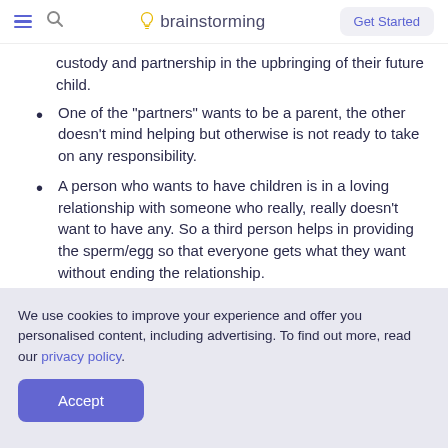brainstorming — Get Started
custody and partnership in the upbringing of their future child.
One of the "partners" wants to be a parent, the other doesn't mind helping but otherwise is not ready to take on any responsibility.
A person who wants to have children is in a loving relationship with someone who really, really doesn't want to have any. So a third person helps in providing the sperm/egg so that everyone gets what they want without ending the relationship.
And so on..
We use cookies to improve your experience and offer you personalised content, including advertising. To find out more, read our privacy policy.
Accept